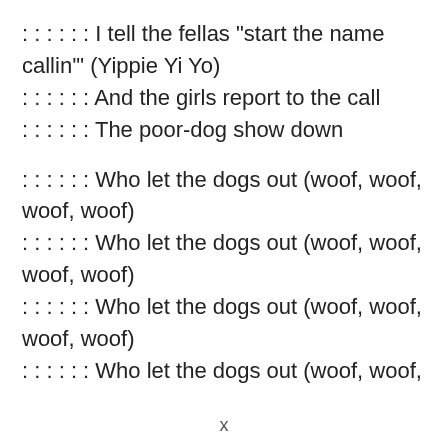: : : : : : I tell the fellas "start the name callin'" (Yippie Yi Yo)
: : : : : : And the girls report to the call
: : : : : : The poor-dog show down
: : : : : : Who let the dogs out (woof, woof, woof, woof)
: : : : : : Who let the dogs out (woof, woof, woof, woof)
: : : : : : Who let the dogs out (woof, woof, woof, woof)
: : : : : : Who let the dogs out (woof, woof,
x